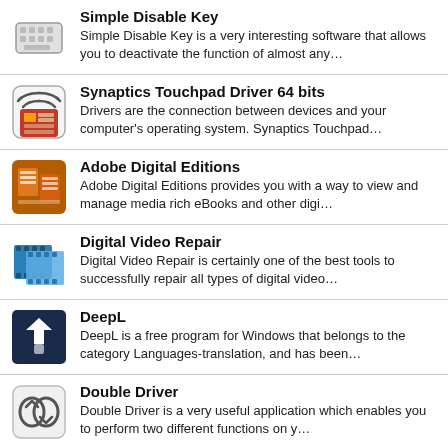Simple Disable Key
Simple Disable Key is a very interesting software that allows you to deactivate the function of almost any…
Synaptics Touchpad Driver 64 bits
Drivers are the connection between devices and your computer's operating system. Synaptics Touchpad…
Adobe Digital Editions
Adobe Digital Editions provides you with a way to view and manage media rich eBooks and other digi…
Digital Video Repair
Digital Video Repair is certainly one of the best tools to successfully repair all types of digital video…
DeepL
DeepL is a free program for Windows that belongs to the category Languages-translation, and has been…
Double Driver
Double Driver is a very useful application which enables you to perform two different functions on y…